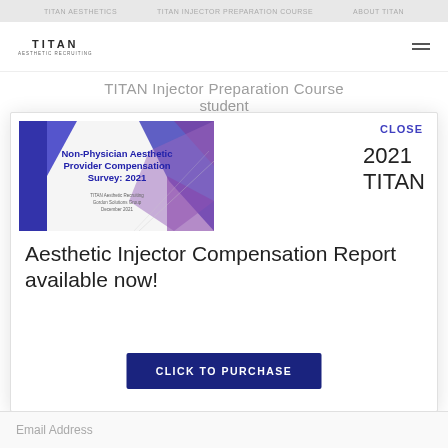TITAN Injector Preparation Course student
[Figure (illustration): Cover image of Non-Physician Aesthetic Provider Compensation Survey: 2021, published by TITAN Aesthetic Recruiting and Gordon Solutions Group, December 2021. Features abstract blue and purple geometric shapes.]
CLOSE
2021 TITAN
Aesthetic Injector Compensation Report available now!
CLICK TO PURCHASE
Email Address